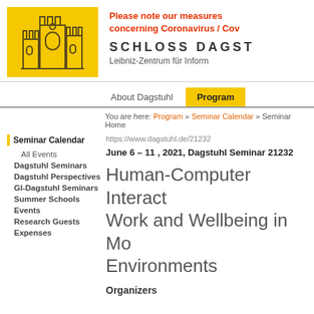[Figure (logo): Schloss Dagstuhl logo: yellow background with line drawing of a castle/building]
Please note our measures concerning Coronavirus / Cov
SCHLOSS DAGST
Leibniz-Zentrum für Inform
About Dagstuhl   Program
You are here: Program » Seminar Calendar » Seminar Home
Seminar Calendar
All Events
Dagstuhl Seminars
Dagstuhl Perspectives
GI-Dagstuhl Seminars
Summer Schools
Events
Research Guests
Expenses
https://www.dagstuhl.de/21232
June 6 – 11 , 2021, Dagstuhl Seminar 21232
Human-Computer Interact Work and Wellbeing in Mo Environments
Organizers